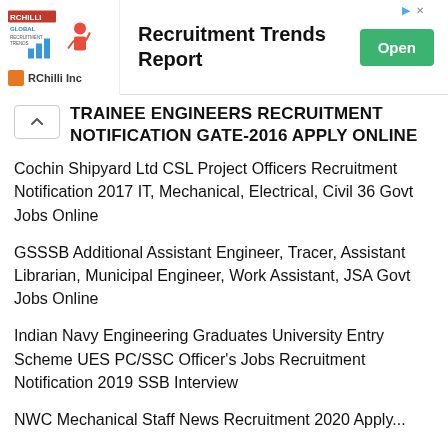[Figure (screenshot): Advertisement banner for RChilli Inc - Recruitment Trends Report with Open button]
TRAINEE ENGINEERS RECRUITMENT NOTIFICATION GATE-2016 APPLY ONLINE
Cochin Shipyard Ltd CSL Project Officers Recruitment Notification 2017 IT, Mechanical, Electrical, Civil 36 Govt Jobs Online
GSSSB Additional Assistant Engineer, Tracer, Assistant Librarian, Municipal Engineer, Work Assistant, JSA Govt Jobs Online
Indian Navy Engineering Graduates University Entry Scheme UES PC/SSC Officer's Jobs Recruitment Notification 2019 SSB Interview
NWC Mechanical Staff News Recruitment 2020 Apply...